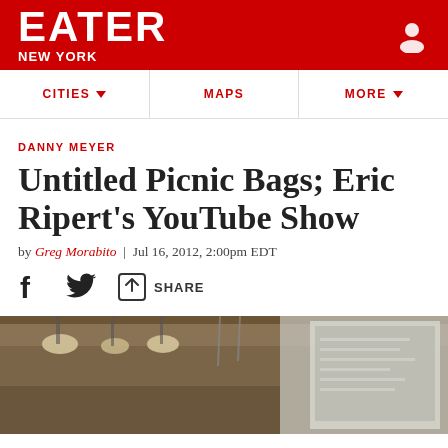EATER NEW YORK
DANNY MEYER
Untitled Picnic Bags; Eric Ripert's YouTube Show
by Greg Morabito | Jul 16, 2012, 2:00pm EDT
[Figure (photo): Interior architectural photo showing ceiling with hanging lights and a chalkboard menu sign in the background]